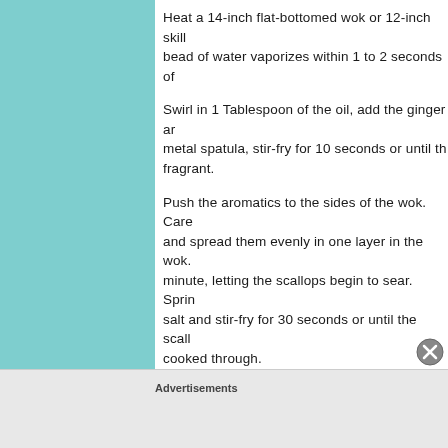Heat a 14-inch flat-bottomed wok or 12-inch skill… bead of water vaporizes within 1 to 2 seconds of…
Swirl in 1 Tablespoon of the oil, add the ginger ar… metal spatula, stir-fry for 10 seconds or until th… fragrant.
Push the aromatics to the sides of the wok. Care… and spread them evenly in one layer in the wok. … minute, letting the scallops begin to sear. Sprin… salt and stir-fry for 30 seconds or until the scall… cooked through.
Transfer the scallops to a plate.
Swirl the remaining 1 Tbs. oil into the wok, add t…
Advertisements